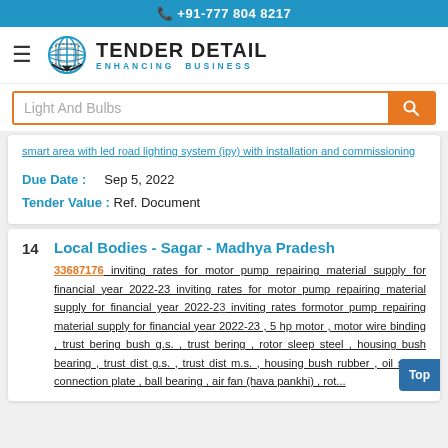+91-777 804 8217
[Figure (logo): Tender Detail logo with globe icon and tagline ENHANCING BUSINESS]
Light And Bulbs (search box)
...smart area with led road lighting system (ipy) with installation and commissioning
Due Date : Sep 5, 2022
Tender Value : Ref. Document
14  Local Bodies - Sagar - Madhya Pradesh
33687176 inviting rates for motor pump repairing material supply for financial year 2022-23 inviting rates for motor pump repairing material supply for financial year 2022-23 inviting rates formotor pump repairing material supply for financial year 2022-23 , 5 hp motor , motor wire binding , trust bering bush g.s. , trust bering , rotor sleep steel , housing bush bearing , trust dist g.s. , trust dist m.s. , housing bush rubber , oil seal , connection plate , ball bearing , air fan (hava pankhi) , rot...